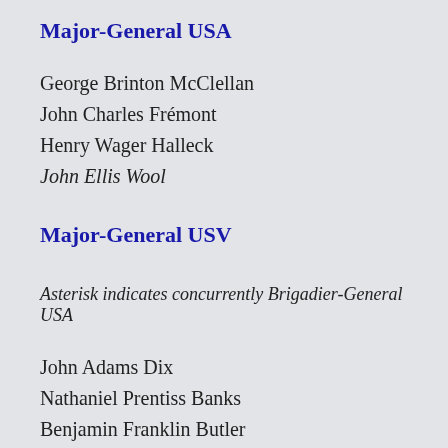Major-General USA
George Brinton McClellan
John Charles Frémont
Henry Wager Halleck
John Ellis Wool
Major-General USV
Asterisk indicates concurrently Brigadier-General USA
John Adams Dix
Nathaniel Prentiss Banks
Benjamin Franklin Butler